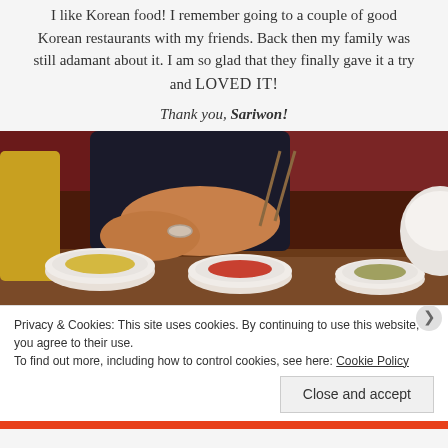I like Korean food! I remember going to a couple of good Korean restaurants with my friends. Back then my family was still adamant about it. I am so glad that they finally gave it a try and LOVED IT!
Thank you, Sariwon!
[Figure (photo): Photo of a person eating at a Korean restaurant with small side dish bowls (banchan) on a wooden table]
Privacy & Cookies: This site uses cookies. By continuing to use this website, you agree to their use.
To find out more, including how to control cookies, see here: Cookie Policy
Close and accept